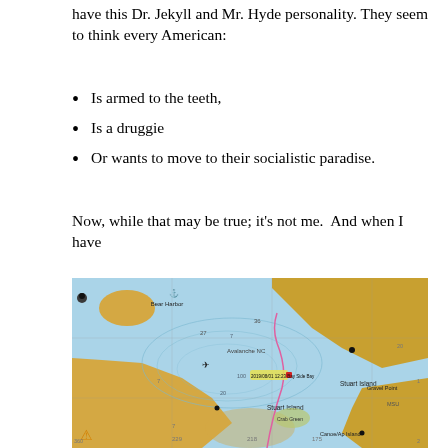have this Dr. Jekyll and Mr. Hyde personality. They seem to think every American:
Is armed to the teeth,
Is a druggie
Or wants to move to their socialistic paradise.
Now, while that may be true; it's not me.  And when I have
[Figure (map): Nautical chart showing a waterway with depth contours, shallow golden/tan areas indicating land or shallow water, blue water areas with depth markings, labeled locations including 'Bear Harbor', 'Stuart Island', 'Crab Island', pink route line, and various navigational markers and depth numbers.]